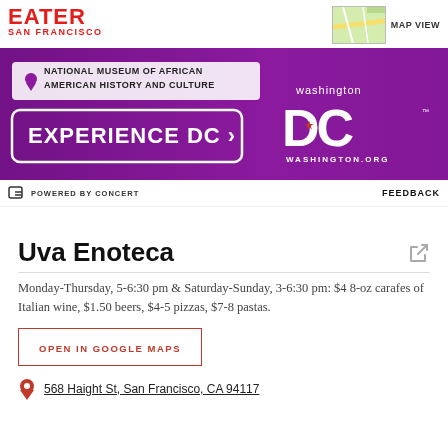EATER SAN FRANCISCO
[Figure (screenshot): Map thumbnail view]
MAP VIEW
[Figure (photo): Advertisement banner: National Museum of African American History and Culture - Experience DC - Washington DC - washington.org]
POWERED BY CONCERT   FEEDBACK
Uva Enoteca
Monday-Thursday, 5-6:30 pm & Saturday-Sunday, 3-6:30 pm: $4 8-oz carafes of Italian wine, $1.50 beers, $4-5 pizzas, $7-8 pastas.
OPEN IN GOOGLE MAPS
568 Haight St, San Francisco, CA 94117